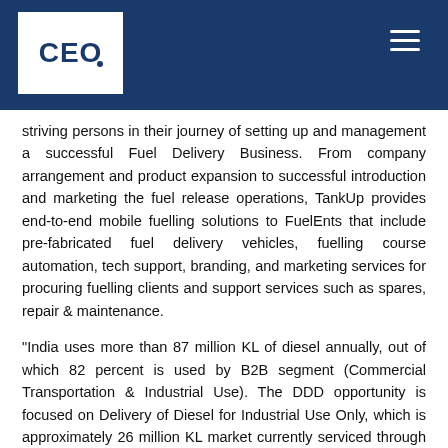CEO
striving persons in their journey of setting up and management a successful Fuel Delivery Business. From company arrangement and product expansion to successful introduction and marketing the fuel release operations, TankUp provides end-to-end mobile fuelling solutions to FuelEnts that include pre-fabricated fuel delivery vehicles, fuelling course automation, tech support, branding, and marketing services for procuring fuelling clients and support services such as spares, repair & maintenance.
"India uses more than 87 million KL of diesel annually, out of which 82 percent is used by B2B segment (Commercial Transportation & Industrial Use). The DDD opportunity is focused on Delivery of Diesel for Industrial Use Only, which is approximately 26 million KL market currently serviced through the unorganized and inefficient barrel and jerry can procurement system that results in pilferage and handling losses. Substantial loss of fuel is incurred due to such forms of pilferage, every year to industrial clients. This is precisely the problem that TankUp aims to solve by empowering Fuel Entrepreneurs to participate in the organized delivery of diesel for industrial and other commercial uses. The DDD market currently is